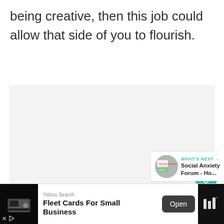being creative, then this job could allow that side of you to flourish.
[Figure (screenshot): Large light grey blank content area with a teal heart/like button showing 120 likes, a share button, and a 'What's Next' recommendation thumbnail for 'Social Anxiety Forum - Ho...']
[Figure (screenshot): Bottom advertisement bar: Yahoo Search ad for 'Fleet Cards For Small Business' with an Open button, and a dark right panel with a weather/app icon.]